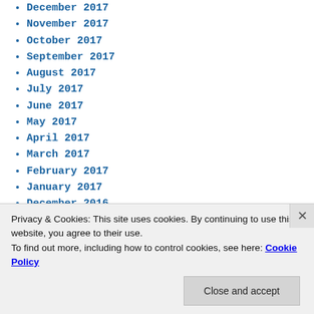December 2017
November 2017
October 2017
September 2017
August 2017
July 2017
June 2017
May 2017
April 2017
March 2017
February 2017
January 2017
December 2016
November 2016
October 2016
September 2016
August 2016
Privacy & Cookies: This site uses cookies. By continuing to use this website, you agree to their use. To find out more, including how to control cookies, see here: Cookie Policy
Close and accept